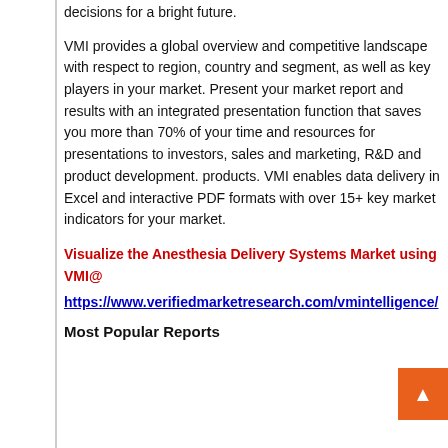decisions for a bright future.
VMI provides a global overview and competitive landscape with respect to region, country and segment, as well as key players in your market. Present your market report and results with an integrated presentation function that saves you more than 70% of your time and resources for presentations to investors, sales and marketing, R&D and product development. products. VMI enables data delivery in Excel and interactive PDF formats with over 15+ key market indicators for your market.
Visualize the Anesthesia Delivery Systems Market using VMI@
https://www.verifiedmarketresearch.com/vmintelligence/
Most Popular Reports